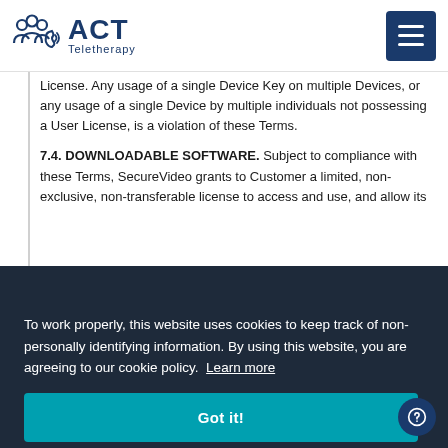ACT Teletherapy
License. Any usage of a single Device Key on multiple Devices, or any usage of a single Device by multiple individuals not possessing a User License, is a violation of these Terms.
7.4. DOWNLOADABLE SOFTWARE. Subject to compliance with these Terms, SecureVideo grants to Customer a limited, non-exclusive, non-transferable license to access and use, and allow its
To work properly, this website uses cookies to keep track of non-personally identifying information. By using this website, you are agreeing to our cookie policy. Learn more
Got it!
Services / you hereby understand and agree that Free Trial Services are 1) time-limited; 2) not